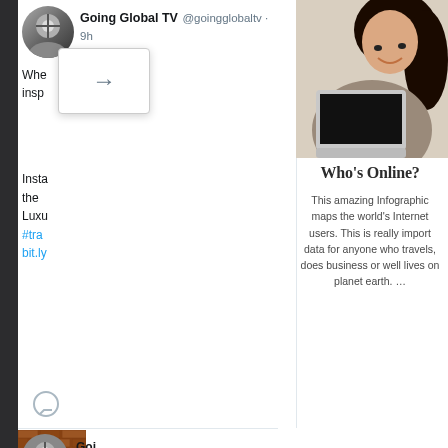Going Global TV @goingglobaltv · 9h
Whe... insp...
Insta... the Luxu... #tra... bit.ly...
[Figure (photo): Woman lying on couch with laptop, smiling]
Who’s Online?
This amazing Infographic maps the world’s Internet users. This is really import data for anyone who travels, does business or well lives on planet earth. …
[Figure (photo): Partially visible brick wall thumbnail image]
Goi...